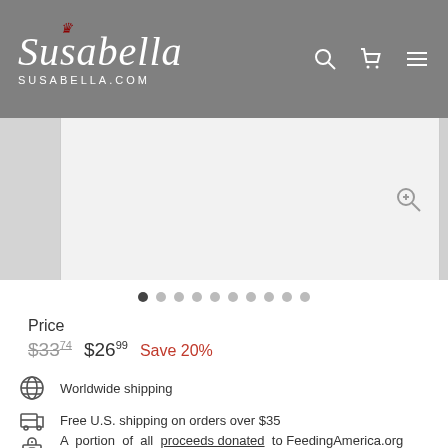Susabella SUSABELLA.COM
[Figure (photo): Product image carousel showing jewelry items with navigation dots below]
Price
$33.74  $26.99  Save 20%
Worldwide shipping
Free U.S. shipping on orders over $35
A portion of all proceeds donated to FeedingAmerica.org
All our products are handcrafted & shipped from Washington State, USA
Protected by the Susabella Happiness Guarantee